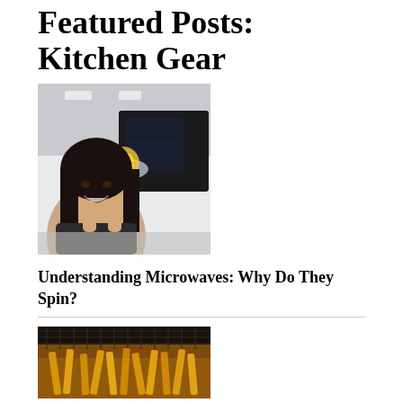Featured Posts: Kitchen Gear
[Figure (photo): Woman smiling and holding a glass bowl with a lemon slice up to a microwave oven]
Understanding Microwaves: Why Do They Spin?
[Figure (photo): French fries in a deep fryer basket with oil]